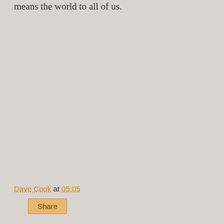means the world to all of us.
Dave Cook at 05:05
Share